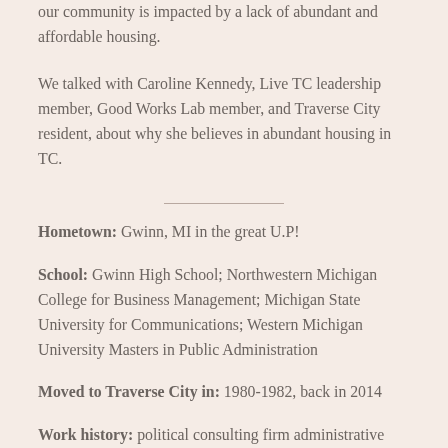our community is impacted by a lack of abundant and affordable housing.
We talked with Caroline Kennedy, Live TC leadership member, Good Works Lab member, and Traverse City resident, about why she believes in abundant housing in TC.
Hometown: Gwinn, MI in the great U.P!
School: Gwinn High School; Northwestern Michigan College for Business Management; Michigan State University for Communications; Western Michigan University Masters in Public Administration
Moved to Traverse City in: 1980-1982, back in 2014
Work history: political consulting firm administrative